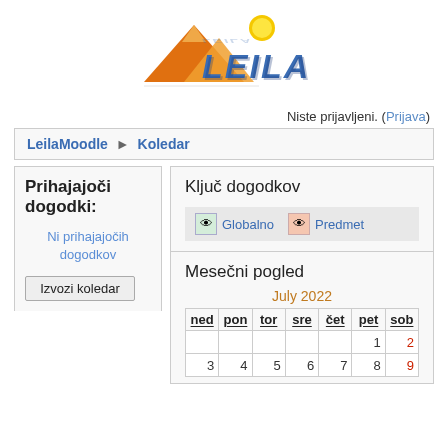[Figure (logo): LEILA logo with orange mountain shapes and blue 3D text 'LEILA' with a yellow sun]
Niste prijavljeni. (Prijava)
LeilaMoodle ▶ Koledar
Prihajajoči dogodki:
Ni prihajajočih dogodkov
Izvozi koledar
Ključ dogodkov
Globalno   Predmet
Mesečni pogled
July 2022
| ned | pon | tor | sre | čet | pet | sob |
| --- | --- | --- | --- | --- | --- | --- |
|  |  |  |  |  | 1 | 2 |
| 3 | 4 | 5 | 6 | 7 | 8 | 9 |